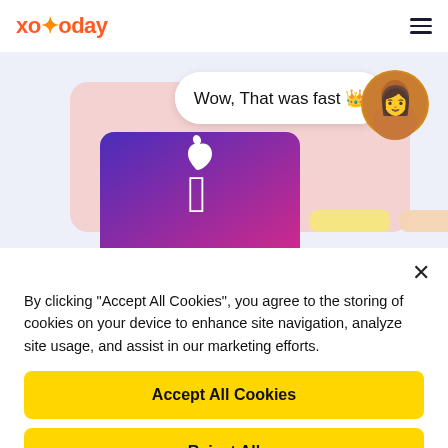[Figure (screenshot): xoxoday website header with orange logo and hamburger menu]
[Figure (illustration): Hero banner showing gift cards including Apple gift card with purple-to-pink gradient, a speech bubble saying 'Wow, That was fast 👑', and a woman's profile photo]
By clicking "Accept All Cookies", you agree to the storing of cookies on your device to enhance site navigation, analyze site usage, and assist in our marketing efforts.
Accept All Cookies
Reject All
Cookies Settings